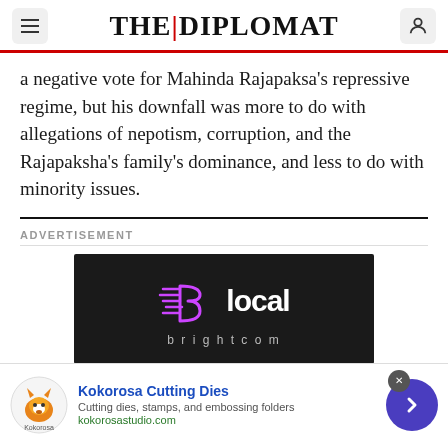THE DIPLOMAT
a negative vote for Mahinda Rajapaksa's repressive regime, but his downfall was more to do with allegations of nepotism, corruption, and the Rajapaksha's family's dominance, and less to do with minority issues.
ADVERTISEMENT
[Figure (logo): Blocal brightcom advertisement logo on dark background]
[Figure (photo): Kokorosa Cutting Dies advertisement banner with fox logo, title 'Kokorosa Cutting Dies', description 'Cutting dies, stamps, and embossing folders', url 'kokorosastudio.com']